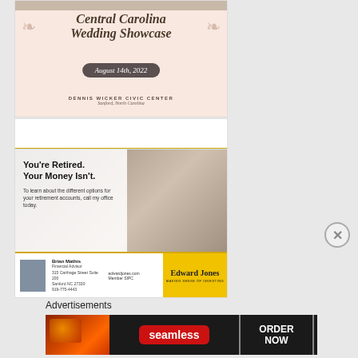[Figure (illustration): Central Carolina Wedding Showcase advertisement with floral design on pink background. Text reads 'Central Carolina Wedding Showcase', 'August 14th, 2022', 'DENNIS WICKER CIVIC CENTER', 'Sanford, North Carolina']
[Figure (photo): White block space with gold bottom border]
[Figure (illustration): Edward Jones financial advertisement featuring retired couple at laptop. Headline: 'You're Retired. Your Money Isn't.' Sub-text: 'To learn about the different options for your retirement accounts, call my office today.' Agent: Brian Mathis, Financial Advisor, 315 Carthage Street Suite 200, Sanford NC 27330, 919-775-4443. Edward Jones logo with yellow background.]
Advertisements
[Figure (illustration): Seamless food delivery advertisement with pizza image on dark background. Shows 'seamless' brand name in red pill shape and 'ORDER NOW' button.]